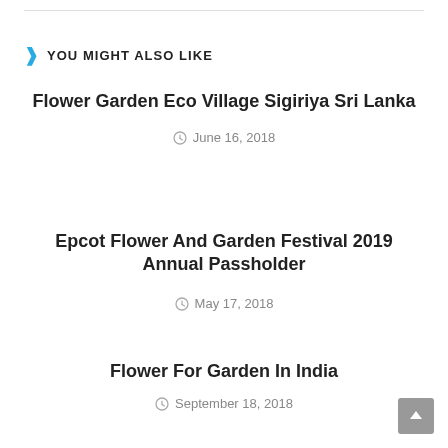YOU MIGHT ALSO LIKE
Flower Garden Eco Village Sigiriya Sri Lanka
June 16, 2018
Epcot Flower And Garden Festival 2019 Annual Passholder
May 17, 2018
Flower For Garden In India
September 18, 2018